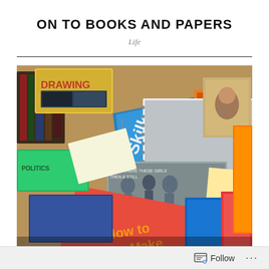ON TO BOOKS AND PAPERS
Life
[Figure (photo): A large pile of books and papers scattered and stacked on a surface, including visible titles such as 'Drawing', 'MOBIL', 'How to Make', and various other books and notebooks in multiple colors.]
Follow ...